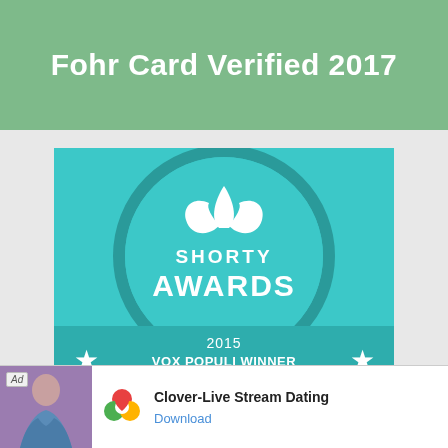Fohr Card Verified 2017
[Figure (illustration): Shorty Awards 2015 Vox Populi Winner & Finalist in Blogger badge. Teal background with circular logo featuring whale tail icon. Text reads: SHORTY AWARDS, 2015, VOX POPULI WINNER & FINALIST in BLOGGER. MelanysGuydlines / @Melanyb12]
[Figure (illustration): Partial pink segmented donut/wheel shape visible at bottom]
[Figure (illustration): Advertisement banner: Clover-Live Stream Dating app ad with colorful clover icon and Download button]